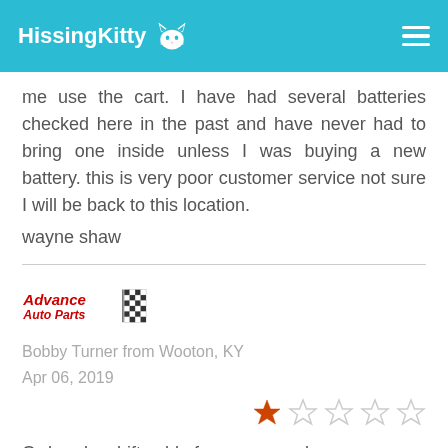HissingKitty
me use the cart. I have had several batteries checked here in the past and have never had to bring one inside unless I was buying a new battery. this is very poor customer service not sure I will be back to this location.
wayne shaw
[Figure (logo): Advance Auto Parts logo with checkered flag]
Bobby Turner from Wooton, KY
Apr 06, 2019
[Figure (other): 1 out of 5 stars rating]
Ordered a shift cable for my car and was